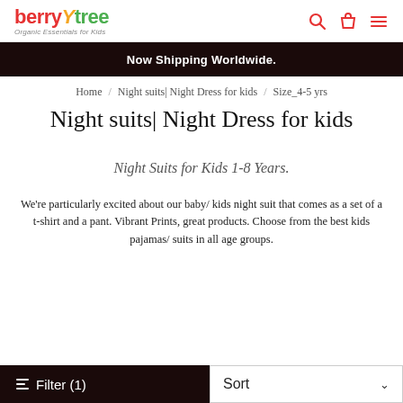berrytree — Organic Essentials for Kids
Now Shipping Worldwide.
Home / Night suits| Night Dress for kids / Size_4-5 yrs
Night suits| Night Dress for kids
Night Suits for Kids 1-8 Years.
We're particularly excited about our baby/ kids night suit that comes as a set of a t-shirt and a pant. Vibrant Prints, great products. Choose from the best kids pajamas/ suits in all age groups.
Filter (1)
Sort